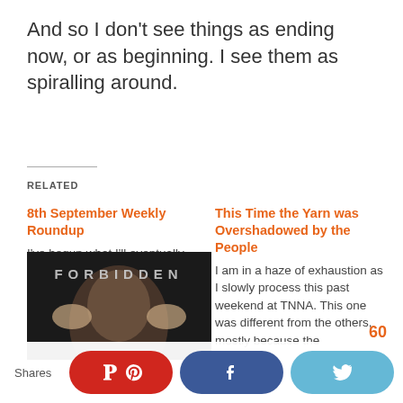And so I don't see things as ending now, or as beginning. I see them as spiralling around.
RELATED
8th September Weekly Roundup
I've begun what I'll eventually look back upon as an odd few months but which now simply seems a bit of a hellish struggle peppered with relief,
This Time the Yarn was Overshadowed by the People
I am in a haze of exhaustion as I slowly process this past weekend at TNNA. This one was different from the others, mostly because the
[Figure (photo): Dark image with text FORBIDDEN overlaid, showing a person from behind with hands on neck/shoulders]
Shares  [Pinterest button] [Facebook button] [Twitter button]  60